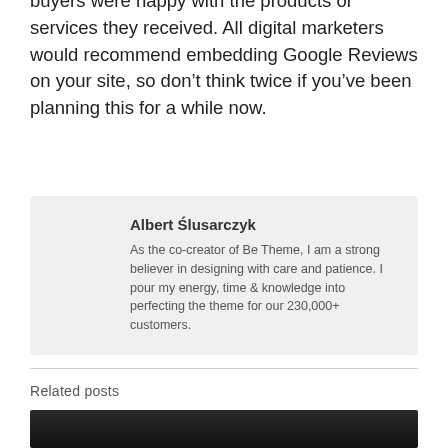buyers were happy with the products or services they received. All digital marketers would recommend embedding Google Reviews on your site, so don't think twice if you've been planning this for a while now.
Albert Ślusarczyk
As the co-creator of Be Theme, I am a strong believer in designing with care and patience. I pour my energy, time & knowledge into perfecting the theme for our 230,000+ customers.
Related posts
[Figure (photo): Dark image at the bottom of the page, partial view of a related post thumbnail]